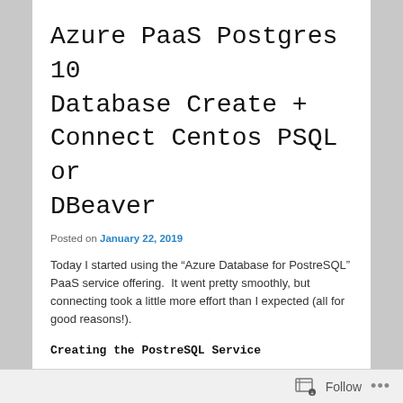Azure PaaS Postgres 10 Database Create + Connect Centos PSQL or DBeaver
Posted on January 22, 2019
Today I started using the “Azure Database for PostreSQL” PaaS service offering.  It went pretty smoothly, but connecting took a little more effort than I expected (all for good reasons!).
Creating the PostreSQL Service
You can find the creation screen in the Azure portal by pressing (+), clicking Databases, and scrolling down.
Follow …